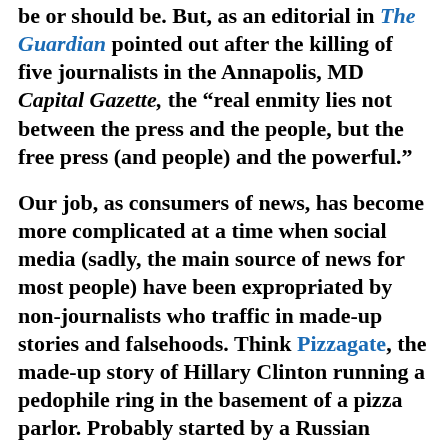be or should be. But, as an editorial in The Guardian pointed out after the killing of five journalists in the Annapolis, MD Capital Gazette, the “real enmity lies not between the press and the people, but the free press (and people) and the powerful.”
Our job, as consumers of news, has become more complicated at a time when social media (sadly, the main source of news for most people) have been expropriated by non-journalists who traffic in made-up stories and falsehoods. Think Pizzagate, the made-up story of Hillary Clinton running a pedophile ring in the basement of a pizza parlor. Probably started by a Russian disinformation operative,